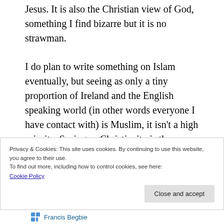Jesus. It is also the Christian view of God, something I find bizarre but it is no strawman.
I do plan to write something on Islam eventually, but seeing as only a tiny proportion of Ireland and the English speaking world (in other words everyone I have contact with) is Muslim, it isn't a high priority. Seeing as Christianity is the
Privacy & Cookies: This site uses cookies. By continuing to use this website, you agree to their use.
To find out more, including how to control cookies, see here:
Cookie Policy
Close and accept
Francis Begbie